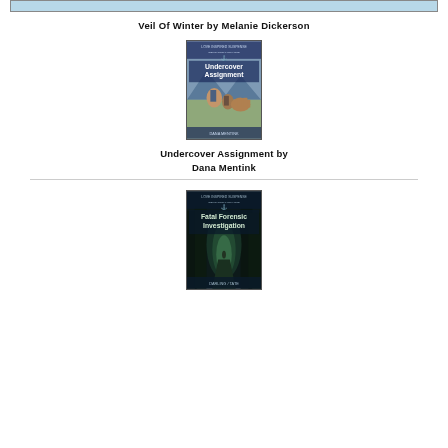[Figure (illustration): Top banner image with light blue snowy background]
Veil Of Winter by Melanie Dickerson
[Figure (illustration): Book cover: Undercover Assignment, Love Inspired Suspense, showing two people and a horse in an outdoor scene]
Undercover Assignment by Dana Mentink
[Figure (illustration): Book cover: Fatal Forensic Investigation, Love Inspired Suspense, showing a dark forest path with a figure]